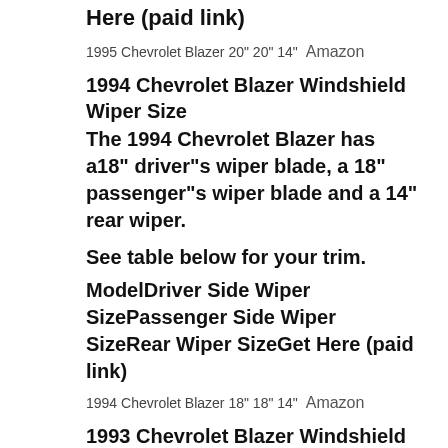Here (paid link)
1995 Chevrolet Blazer 20" 20" 14" Amazon
1994 Chevrolet Blazer Windshield Wiper Size
The 1994 Chevrolet Blazer has a18" driver"s wiper blade, a 18" passenger"s wiper blade and a 14" rear wiper.
See table below for your trim.
ModelDriver Side Wiper SizePassenger Side Wiper SizeRear Wiper SizeGet Here (paid link)
1994 Chevrolet Blazer 18" 18" 14" Amazon
1993 Chevrolet Blazer Windshield Wiper Size
The 1993 Chevrolet Blazer has a18" driver"s wiper blade, a 18"